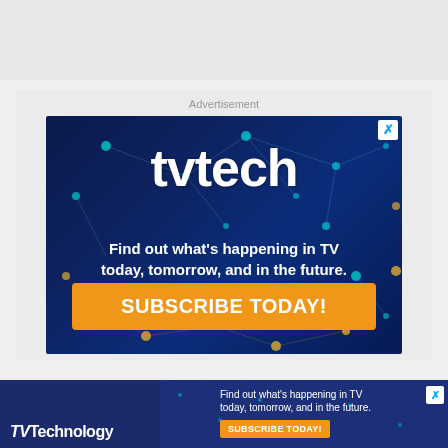[Figure (screenshot): Top gray banner area]
Advertisement
[Figure (infographic): TVTech advertisement banner with dark blue network background, tvtech logo in white, tagline 'Find out what's happening in TV today, tomorrow, and in the future.' and orange SUBSCRIBE TODAY! button]
[Figure (infographic): Bottom banner ad for TVTechnology with logo, tagline 'Find out what's happening in TV today, tomorrow, and in the future.' and orange SUBSCRIBE TODAY! button, with close X button]